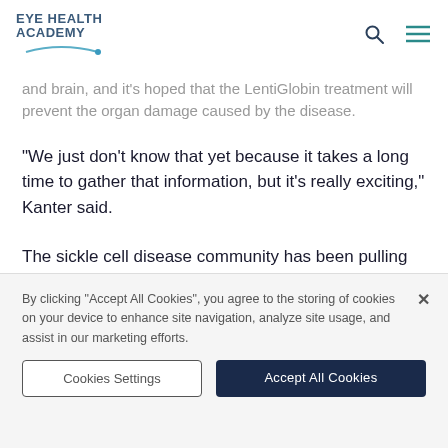EYE HEALTH ACADEMY
and brain, and it's hoped that the LentiGlobin treatment will prevent the organ damage caused by the disease.
"We just don't know that yet because it takes a long time to gather that information, but it's really exciting," Kanter said.
The sickle cell disease community has been pulling for the success of LentiGlobin, Hsu said.
By clicking “Accept All Cookies”, you agree to the storing of cookies on your device to enhance site navigation, analyze site usage, and assist in our marketing efforts.